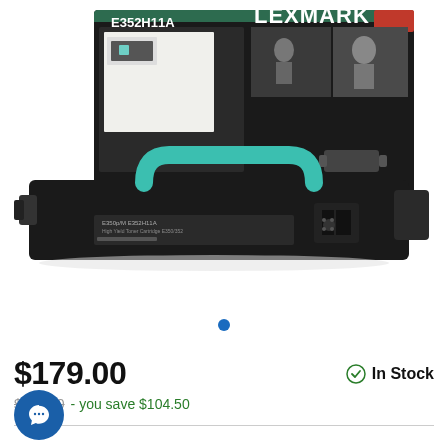[Figure (photo): Lexmark E352H11A black toner cartridge product photo showing the toner cartridge in front of its dark box packaging. The box features the Lexmark logo, model number E352H11A, product images, and the tagline 'True. Image. Always.']
$179.00
In Stock
$283.50 - you save $104.50